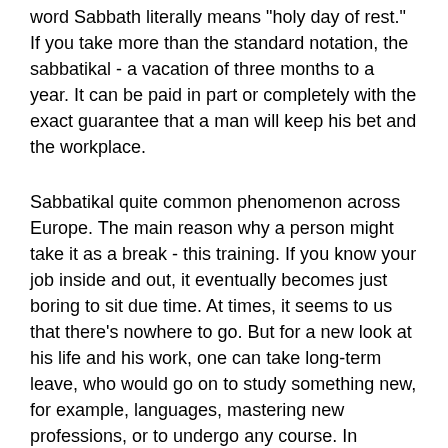word Sabbath literally means "holy day of rest." If you take more than the standard notation, the sabbatikal - a vacation of three months to a year. It can be paid in part or completely with the exact guarantee that a man will keep his bet and the workplace.
Sabbatikal quite common phenomenon across Europe. The main reason why a person might take it as a break - this training. If you know your job inside and out, it eventually becomes just boring to sit due time. At times, it seems to us that there's nowhere to go. But for a new look at his life and his work, one can take long-term leave, who would go on to study something new, for example, languages, mastering new professions, or to undergo any course. In addition to self-help, a person can take sabbatikal for personal reasons. For example, it can:
• Send a journey;